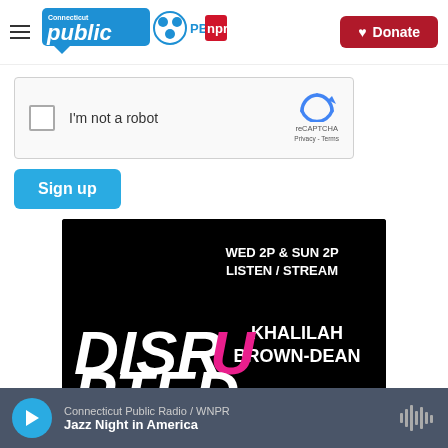[Figure (logo): Connecticut Public / PBS / NPR logo in header]
[Figure (screenshot): reCAPTCHA widget with checkbox and 'I'm not a robot' text]
Sign up
[Figure (photo): DISRUPTED show promotional image with text 'WED 2P & SUN 2P LISTEN / STREAM' and 'KHALILAH BROWN-DEAN' on black background with pink and white stylized lettering]
Connecticut Public Radio / WNPR
Jazz Night in America